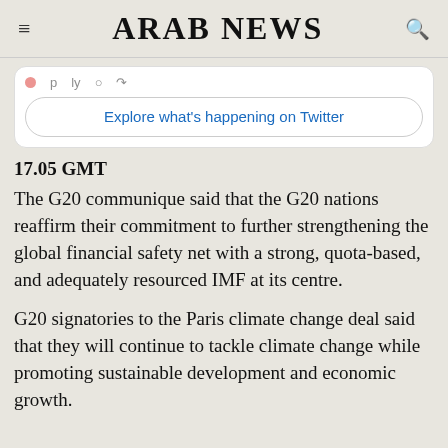ARAB NEWS
[Figure (screenshot): Twitter embed widget showing social icons row and an 'Explore what's happening on Twitter' button]
17.05 GMT
The G20 communique said that the G20 nations reaffirm their commitment to further strengthening the global financial safety net with a strong, quota-based, and adequately resourced IMF at its centre.
G20 signatories to the Paris climate change deal said that they will continue to tackle climate change while promoting sustainable development and economic growth.